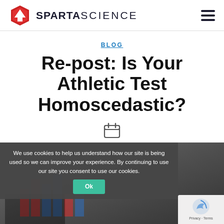SPARTA SCIENCE
BLOG
Re-post: Is Your Athletic Test Homoscedastic?
[Figure (illustration): Calendar icon]
[Figure (photo): Dark background image showing fitness equipment with bar chart graphic overlay]
We use cookies to help us understand how our site is being used so we can improve your experience. By continuing to use our site you consent to use our cookies.
Ok
[Figure (logo): reCAPTCHA badge with Privacy - Terms text]